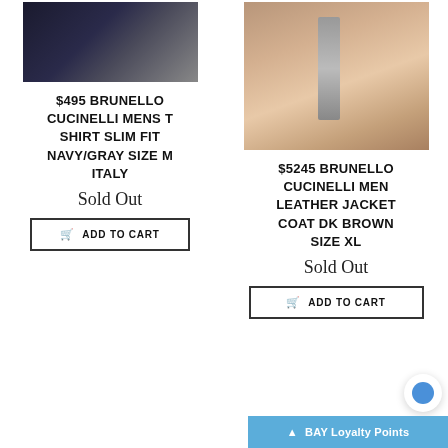[Figure (photo): Navy/gray t-shirt product photo on a light background]
$495 BRUNELLO CUCINELLI MENS T SHIRT SLIM FIT NAVY/GRAY SIZE M ITALY
Sold Out
ADD TO CART
[Figure (photo): Dark brown/rose gold leather jacket on a hanger product photo]
$5245 BRUNELLO CUCINELLI MEN LEATHER JACKET COAT DK BROWN SIZE XL
Sold Out
ADD TO CART
BAY Loyalty Points